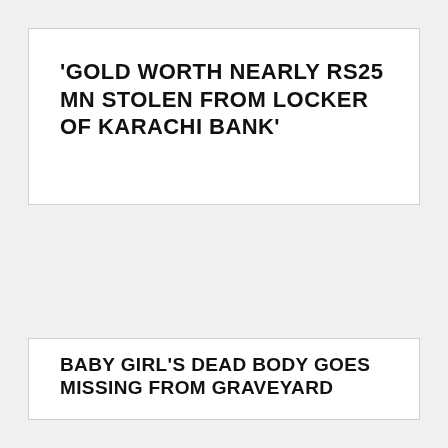'GOLD WORTH NEARLY RS25 MN STOLEN FROM LOCKER OF KARACHI BANK'
BABY GIRL'S DEAD BODY GOES MISSING FROM GRAVEYARD